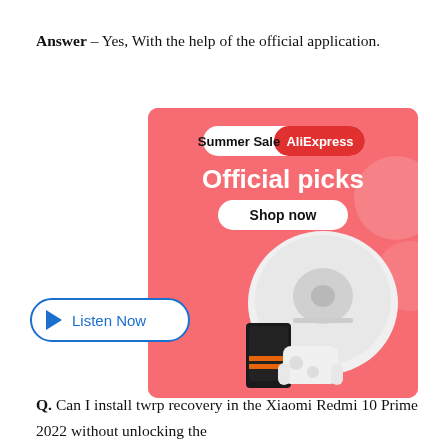Answer – Yes, With the help of the official application.
[Figure (infographic): AliExpress Summer Sale advertisement banner with pink background showing 'Summer Sale AliExpress Official picks Shop now' text and product images including a robot vacuum and gaming devices, with a 'Listen Now' audio button overlaid on the left side.]
Q. Can I install twrp recovery in the Xiaomi Redmi 10 Prime 2022 without unlocking the